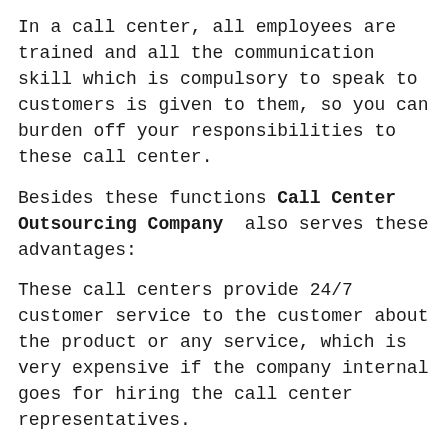In a call center, all employees are trained and all the communication skill which is compulsory to speak to customers is given to them, so you can burden off your responsibilities to these call center.
Besides these functions Call Center Outsourcing Company also serves these advantages:
These call centers provide 24/7 customer service to the customer about the product or any service, which is very expensive if the company internal goes for hiring the call center representatives.
Transfer volume of calls :
If the company is getting the high volume of calls during the holidays and Sundays then these call